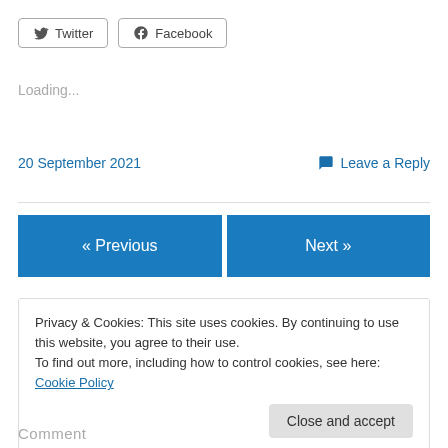[Figure (other): Twitter and Facebook share buttons with icons]
Loading...
20 September 2021
Leave a Reply
[Figure (other): Previous and Next navigation buttons]
Privacy & Cookies: This site uses cookies. By continuing to use this website, you agree to their use.
To find out more, including how to control cookies, see here: Cookie Policy
Close and accept
Comment